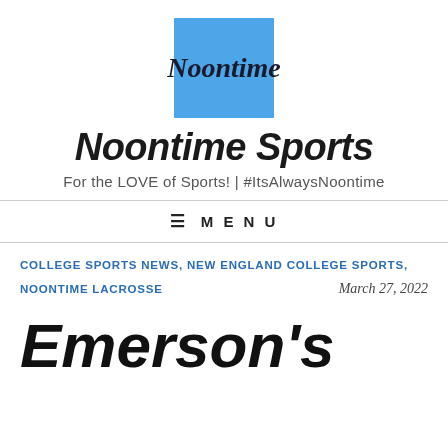[Figure (logo): Noontime Sports logo: a blue square with the word 'Noontime' in cursive script]
Noontime Sports
For the LOVE of Sports! | #ItsAlwaysNoontime
≡ MENU
COLLEGE SPORTS NEWS, NEW ENGLAND COLLEGE SPORTS,
NOONTIME LACROSSE
March 27, 2022
Emerson's